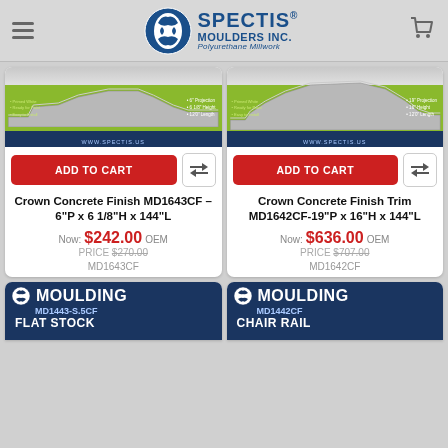Spectis Moulders Inc. — Polyurethane Millwork
[Figure (screenshot): Product image for Crown Concrete Finish MD1643CF — green background with crown moulding profile diagram and specs text, www.spectis.us footer]
ADD TO CART
Crown Concrete Finish MD1643CF – 6"P x 6 1/8"H x 144"L
Now: $242.00  OEM PRICE $270.00
MD1643CF
[Figure (screenshot): Product image for Crown Concrete Finish Trim MD1642CF — green background with crown moulding profile diagram and specs text, www.spectis.us footer]
ADD TO CART
Crown Concrete Finish Trim MD1642CF-19"P x 16"H x 144"L
Now: $636.00  OEM PRICE $707.00
MD1642CF
[Figure (screenshot): Partially visible bottom product thumbnail — Moulding MD1443-S.5CF Flat Stock]
[Figure (screenshot): Partially visible bottom product thumbnail — Moulding MD1442CF Chair Rail]